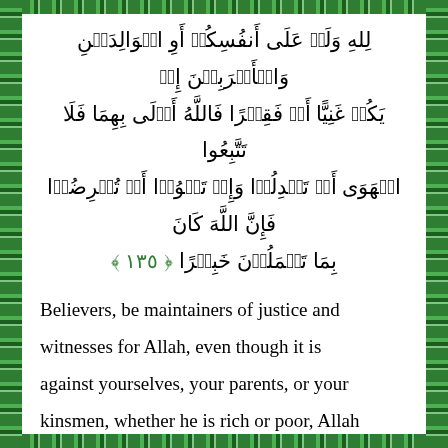لِلهِ وَلَوۡ عَلَى أَنفُسِكُمۡ أَوِ الوَالِدَينِ وَالأَقرَبِينَ إِن يَكُن غَنِيًّا أَو فَقِيرًا فَاللَّهُ أَوۡلَى بِهِمَا فَلا تَتَّبِعُوا الهَوَى أَن تَعدِلُوا وَإِن تَلوُوا أَو تُعرِضُوا فَإِنَّ اللهَ كَانَ بِمَا تَعمَلُونَ خَبِيرًا ﴿١٣٥﴾
Believers, be maintainers of justice and witnesses for Allah, even though it is against yourselves, your parents, or your kinsmen, whether he is rich or poor, Allah has more rights over both of them. So do not follow desires, so that you are (not) just. If you twist or turn, Allah is Aware of